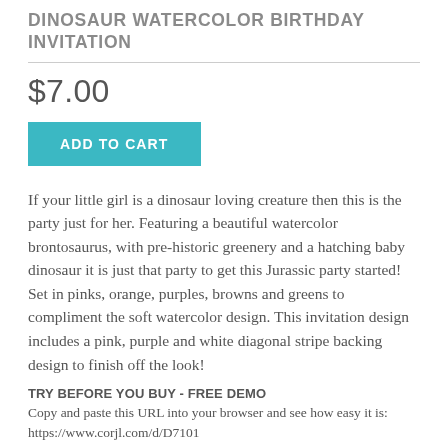DINOSAUR WATERCOLOR BIRTHDAY INVITATION
$7.00
ADD TO CART
If your little girl is a dinosaur loving creature then this is the party just for her. Featuring a beautiful watercolor brontosaurus, with pre-historic greenery and a hatching baby dinosaur it is just that party to get this Jurassic party started! Set in pinks, orange, purples, browns and greens to compliment the soft watercolor design. This invitation design includes a pink, purple and white diagonal stripe backing design to finish off the look!
TRY BEFORE YOU BUY - FREE DEMO
Copy and paste this URL into your browser and see how easy it is: https://www.corjl.com/d/D7101